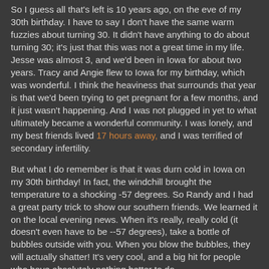So I guess all that's left is 10 years ago, on the eve of my 30th birthday. I have to say I don't have the same warm fuzzies about turning 30. It didn't have anything to do about turning 30; it's just that this was not a great time in my life. Jesse was almost 3, and we'd been in Iowa for about two years. Tracy and Angie flew to Iowa for my birthday, which was wonderful. I think the heaviness that surrounds that year is that we'd been trying to get pregnant for a few months, and it just wasn't happening. And I was not plugged in yet to what ultimately became a wonderful community. I was lonely, and my best friends lived 17 hours away, and I was terrified of secondary infertility.
But what I do remember is that it was durn cold in Iowa on my 30th birthday! In fact, the windchill brought the temperature to a shocking -57 degrees. So Randy and I had a great party trick to show our southern friends. We learned it on the local evening news. When it's really, really cold (it doesn't even have to be --57 degrees), take a bottle of bubbles outside with you. When you blow the bubbles, they will actually shatter! It's very cool, and a big hit for people who have absolutely nothing better to do.